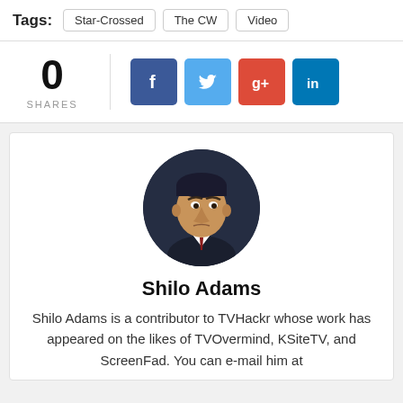Tags: Star-Crossed | The CW | Video
0 SHARES
[Figure (infographic): Social share buttons: Facebook (blue), Twitter (light blue), Google+ (red), LinkedIn (dark blue)]
[Figure (illustration): Circular avatar illustration of Shilo Adams — a cartoon-style man in a suit with dark hair]
Shilo Adams
Shilo Adams is a contributor to TVHackr whose work has appeared on the likes of TVOvermind, KSiteTV, and ScreenFad. You can e-mail him at shilo.adams@wordpress5f819fec399ac.cloud.bunnyv...